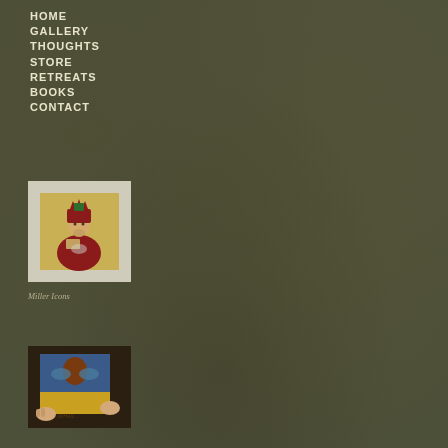HOME
GALLERY
THOUGHTS
STORE
RETREATS
BOOKS
CONTACT
[Figure (photo): Religious icon showing a saint or bishop figure with red vestments, crown/mitre, holding a book, with ornate silver decorative border on yellow background]
Miller Icons
[Figure (photo): Hands holding or examining a painted wooden icon with colorful imagery and gold background]